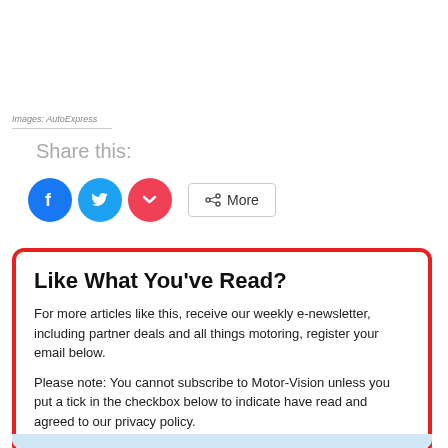Images: AutoExpress
Share this:
[Figure (other): Social sharing buttons: Facebook (blue circle), Twitter (light blue circle), Pocket (red circle), and a More button with share icon]
Like What You've Read?
For more articles like this, receive our weekly e-newsletter, including partner deals and all things motoring, register your email below.
Please note: You cannot subscribe to Motor-Vision unless you put a tick in the checkbox below to indicate have read and agreed to our privacy policy.